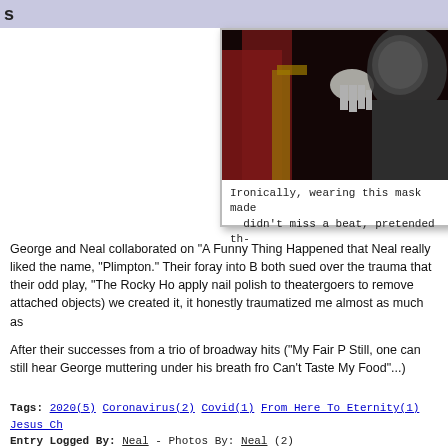s
[Figure (photo): Dark theatrical photo showing a person in a mask/costume with red fabric and another figure, partially cropped]
Ironically, wearing this mask made didn't miss a beat, pretended th-
George and Neal collaborated on “A Funny Thing Happened that Neal really liked the name, "Plimpton." Their foray into B both sued over the trauma that their odd play, “The Rocky Ho apply nail polish to theatergoers to remove attached objects) we created it, it honestly traumatized me almost as much as
After their successes from a trio of broadway hits (“My Fair P Still, one can still hear George muttering under his breath fro Can't Taste My Food"...)
Tags: 2020(5) Coronavirus(2) Covid(1) From Here To Eternity(1) Jesus Ch Entry Logged By: Neal - Photos By: Neal (2)